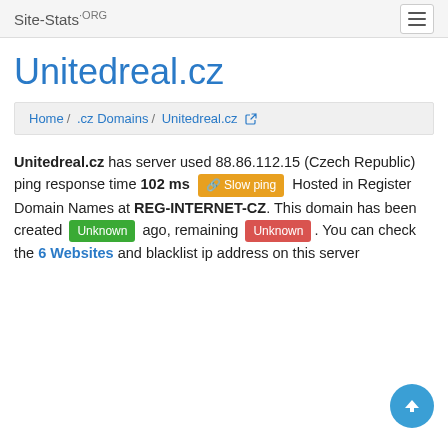Site-Stats.ORG
Unitedreal.cz
Home / .cz Domains / Unitedreal.cz
Unitedreal.cz has server used 88.86.112.15 (Czech Republic) ping response time 102 ms [Slow ping] Hosted in Register Domain Names at REG-INTERNET-CZ. This domain has been created [Unknown] ago, remaining [Unknown]. You can check the 6 Websites and blacklist ip address on this server